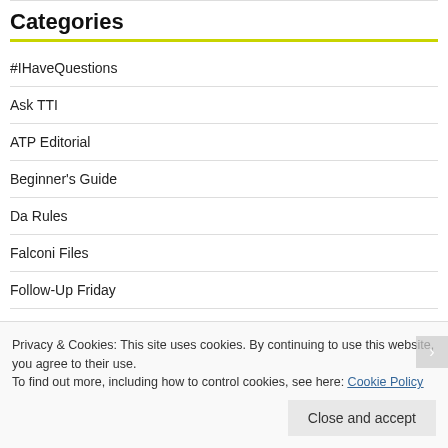Categories
#IHaveQuestions
Ask TTI
ATP Editorial
Beginner's Guide
Da Rules
Falconi Files
Follow-Up Friday
Privacy & Cookies: This site uses cookies. By continuing to use this website, you agree to their use.
To find out more, including how to control cookies, see here: Cookie Policy
Close and accept